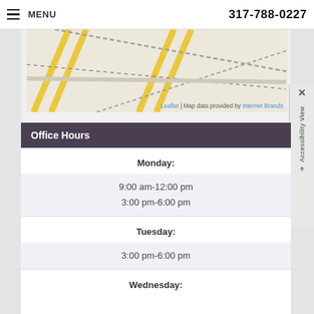MENU   317-788-0227
[Figure (map): Street map showing road intersections with yellow roads and dashed lines. Attribution: Leaflet | Map data provided by Internet Brands]
Office Hours
Monday:
9:00 am-12:00 pm
3:00 pm-6:00 pm
Tuesday:
3:00 pm-6:00 pm
Wednesday: